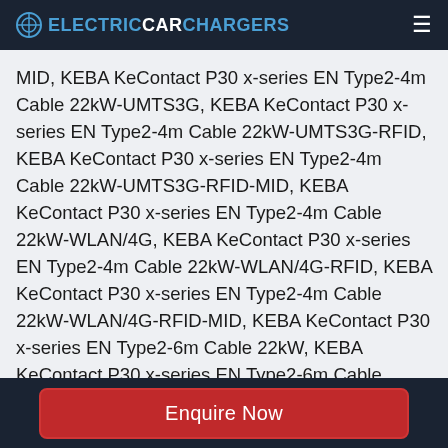ELECTRICCARCHARGERS
MID, KEBA KeContact P30 x-series EN Type2-4m Cable 22kW-UMTS3G, KEBA KeContact P30 x-series EN Type2-4m Cable 22kW-UMTS3G-RFID, KEBA KeContact P30 x-series EN Type2-4m Cable 22kW-UMTS3G-RFID-MID, KEBA KeContact P30 x-series EN Type2-4m Cable 22kW-WLAN/4G, KEBA KeContact P30 x-series EN Type2-4m Cable 22kW-WLAN/4G-RFID, KEBA KeContact P30 x-series EN Type2-4m Cable 22kW-WLAN/4G-RFID-MID, KEBA KeContact P30 x-series EN Type2-6m Cable 22kW, KEBA KeContact P30 x-series EN Type2-6m Cable 22kW-RFID, KEBA KeContact P30 x-series EN
Enquire Now